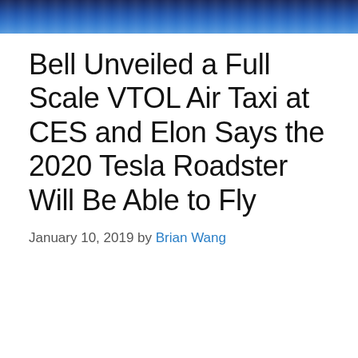[Figure (photo): Header image showing people at what appears to be a tech event, with blue lighting]
Bell Unveiled a Full Scale VTOL Air Taxi at CES and Elon Says the 2020 Tesla Roadster Will Be Able to Fly
January 10, 2019 by Brian Wang